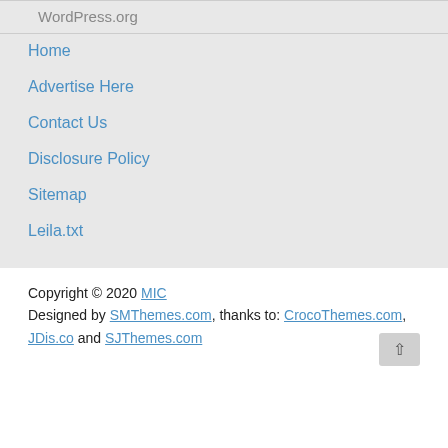WordPress.org
Home
Advertise Here
Contact Us
Disclosure Policy
Sitemap
Leila.txt
Copyright © 2020 MIC
Designed by SMThemes.com, thanks to: CrocoThemes.com, JDis.co and SJThemes.com